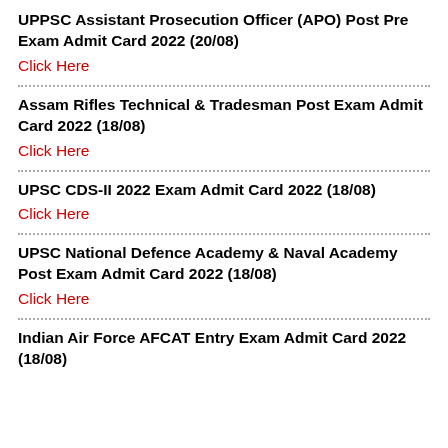UPPSC Assistant Prosecution Officer (APO) Post Pre Exam Admit Card 2022 (20/08)
Click Here
Assam Rifles Technical & Tradesman Post Exam Admit Card 2022 (18/08)
Click Here
UPSC CDS-II 2022 Exam Admit Card 2022 (18/08)
Click Here
UPSC National Defence Academy & Naval Academy Post Exam Admit Card 2022 (18/08)
Click Here
Indian Air Force AFCAT Entry Exam Admit Card 2022 (18/08)